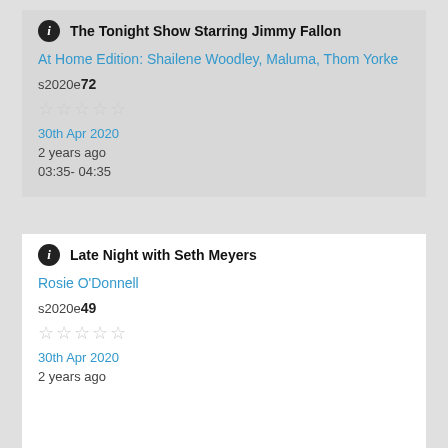The Tonight Show Starring Jimmy Fallon
At Home Edition: Shailene Woodley, Maluma, Thom Yorke
s2020e72
[Figure (other): Five empty star rating icons]
30th Apr 2020
2 years ago
03:35- 04:35
Late Night with Seth Meyers
Rosie O'Donnell
s2020e49
[Figure (other): Five empty star rating icons]
30th Apr 2020
2 years ago